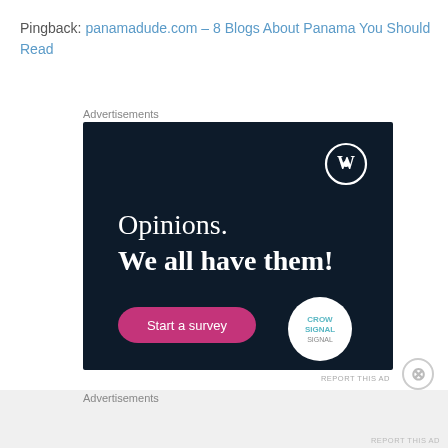Pingback: panamadude.com – 8 Blogs About Panama You Should Read
Advertisements
[Figure (other): WordPress/Crowdsignal advertisement with dark navy background showing text 'Opinions. We all have them!' with a pink 'Start a survey' button and logos for WordPress and Crowdsignal]
Advertisements